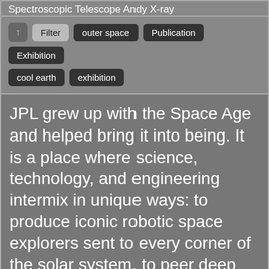Spectroscopic Telescope Andy X-ray
Filter | outer space | Publication | Exhibition | cool earth | exhibition
JPL grew up with the Space Age and helped bring it into being. It is a place where science, technology, and engineering intermix in unique ways: to produce iconic robotic space explorers sent to every corner of the solar system, to peer deep into the Milky Way galaxy and beyond, and to keep a watchful eye on our home planet. Analyzing the data pouring back from these machine emissaries, scientists around the world continue to discover how the universe,